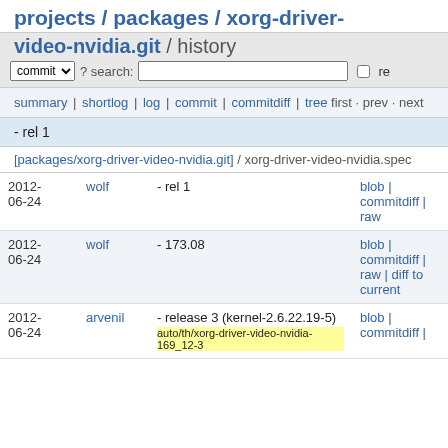projects / packages / xorg-driver-
video-nvidia.git / history
commit ? search: re
summary | shortlog | log | commit | commitdiff | tree first · prev · next
- rel 1
[packages/xorg-driver-video-nvidia.git] / xorg-driver-video-nvidia.spec
| date | author | message | links |
| --- | --- | --- | --- |
| 2012-06-24 | wolf | - rel 1 | blob | commitdiff | raw |
| 2012-06-24 | wolf | - 173.08 | blob | commitdiff | raw | diff to current |
| 2012-06-24 | arvenil | - release 3 (kernel-2.6.22.19-5)
auto/th/xorg-driver-video-nvidia-169_12-3 | blob | commitdiff | |